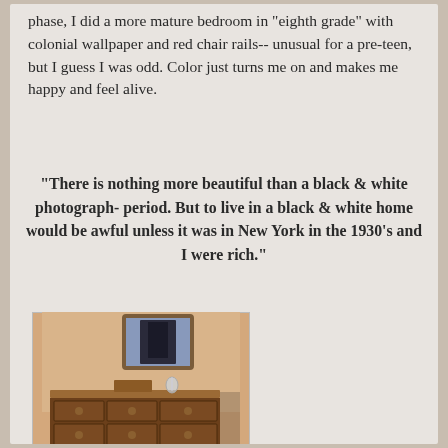phase, I did a more mature bedroom in "eighth grade" with colonial wallpaper and red chair rails-- unusual for a pre-teen, but I guess I was odd. Color just turns me on and makes me happy and feel alive.
"There is nothing more beautiful than a black & white photograph- period. But to live in a black & white home would be awful unless it was in New York in the 1930's and I were rich."
[Figure (photo): A wooden dresser with multiple drawers and round knobs, a small wooden box and glass vase on top, and a framed mirror hanging on the wall above it. The wall is painted in a warm tan/beige color.]